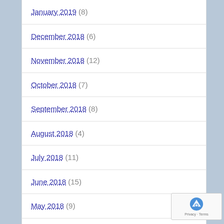January 2019 (8)
December 2018 (6)
November 2018 (12)
October 2018 (7)
September 2018 (8)
August 2018 (4)
July 2018 (11)
June 2018 (15)
May 2018 (9)
April 2018 (13)